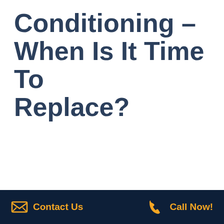Conditioning – When Is It Time To Replace?
Contact Us   Call Now!